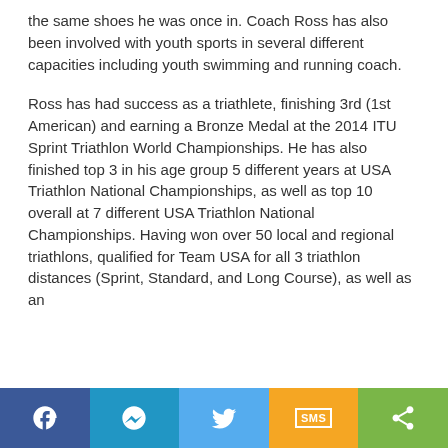the same shoes he was once in. Coach Ross has also been involved with youth sports in several different capacities including youth swimming and running coach.
Ross has had success as a triathlete, finishing 3rd (1st American) and earning a Bronze Medal at the 2014 ITU Sprint Triathlon World Championships. He has also finished top 3 in his age group 5 different years at USA Triathlon National Championships, as well as top 10 overall at 7 different USA Triathlon National Championships. Having won over 50 local and regional triathlons, qualified for Team USA for all 3 triathlon distances (Sprint, Standard, and Long Course), as well as an
[Figure (other): Social sharing bar with Facebook, Messenger, Twitter, SMS, and Share buttons]